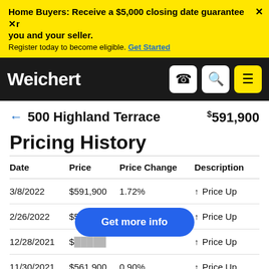Home Buyers: Receive a $5,000 closing date guarantee between you and your seller. Register today to become eligible. Get Started
Weichert
← 500 Highland Terrace   $591,900
Pricing History
| Date | Price | Price Change | Description |
| --- | --- | --- | --- |
| 3/8/2022 | $591,900 | 1.72% | ↑ Price Up |
| 2/26/2022 | $581,900 | 1.75% | ↑ Price Up |
| 12/28/2021 | $5[obscured] |  | ↑ Price Up |
| 11/30/2021 | $561,900 | 0.90% | ↑ Price Up |
Get more info